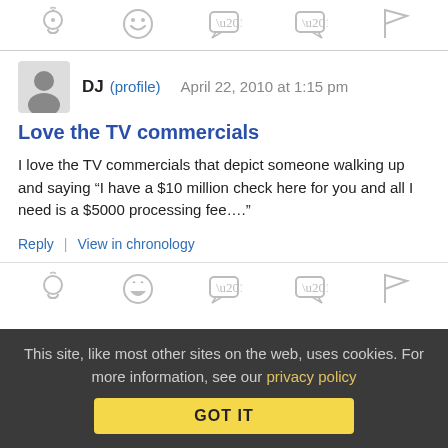[Figure (other): Row of 5 icon buttons: lightbulb, smiley face, quote bubble open, quote bubble close, flag]
DJ (profile)   April 22, 2010 at 1:15 pm
Love the TV commercials
I love the TV commercials that depict someone walking up and saying “I have a $10 million check here for you and all I need is a $5000 processing fee….”
Reply | View in chronology
[Figure (other): Row of 5 icon buttons: lightbulb, laughing face, quote bubble open, quote bubble close, flag]
This site, like most other sites on the web, uses cookies. For more information, see our privacy policy
GOT IT